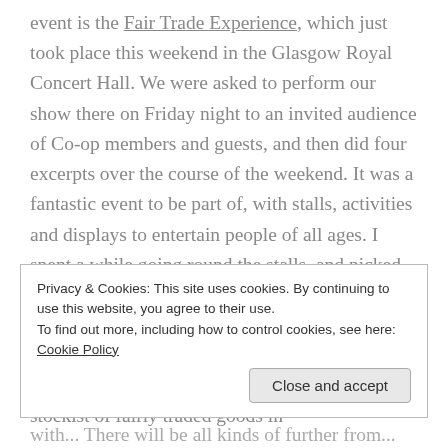event is the Fair Trade Experience, which just took place this weekend in the Glasgow Royal Concert Hall. We were asked to perform our show there on Friday night to an invited audience of Co-op members and guests, and then did four excerpts over the course of the weekend. It was a fantastic event to be part of, with stalls, activities and displays to entertain people of all ages. I spent a while going round the stalls, and picked up some lovely Mothers' Day presents for my mum, as well as a jar of gooseberry jam from Swaziland for my dad. My mum's presents came mainly from a stall run by Rainbow Turtle, a stockist of fairly traded goods in
Privacy & Cookies: This site uses cookies. By continuing to use this website, you agree to their use. To find out more, including how to control cookies, see here: Cookie Policy
Close and accept
with... There will be all kinds of further from...